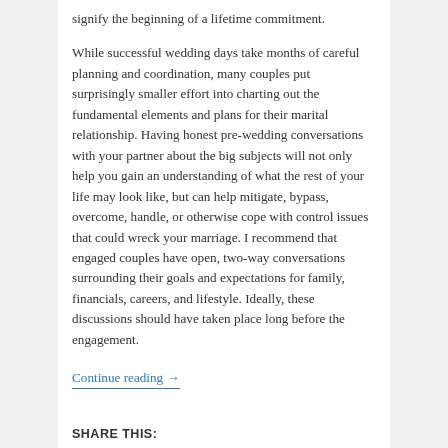signify the beginning of a lifetime commitment.
While successful wedding days take months of careful planning and coordination, many couples put surprisingly smaller effort into charting out the fundamental elements and plans for their marital relationship. Having honest pre-wedding conversations with your partner about the big subjects will not only help you gain an understanding of what the rest of your life may look like, but can help mitigate, bypass, overcome, handle, or otherwise cope with control issues that could wreck your marriage. I recommend that engaged couples have open, two-way conversations surrounding their goals and expectations for family, financials, careers, and lifestyle. Ideally, these discussions should have taken place long before the engagement.
Continue reading →
SHARE THIS:
[Figure (infographic): Row of five social share icon circles: LinkedIn (blue), Twitter (light blue), Facebook (dark blue), Email (grey), Print (grey)]